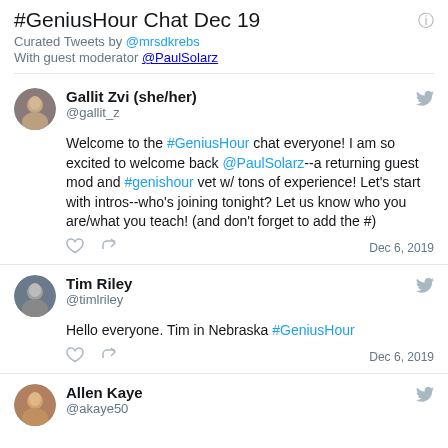#GeniusHour Chat Dec 19
Curated Tweets by @mrsdkrebs
With guest moderator @PaulSolarz
Gallit Zvi (she/her)
@gallit_z
Welcome to the #GeniusHour chat everyone! I am so excited to welcome back @PaulSolarz--a returning guest mod and #genishour vet w/ tons of experience! Let's start with intros--who's joining tonight? Let us know who you are/what you teach! (and don't forget to add the #)
Dec 6, 2019
Tim Riley
@timlriley
Hello everyone. Tim in Nebraska #GeniusHour
Dec 6, 2019
Allen Kaye
@akaye50